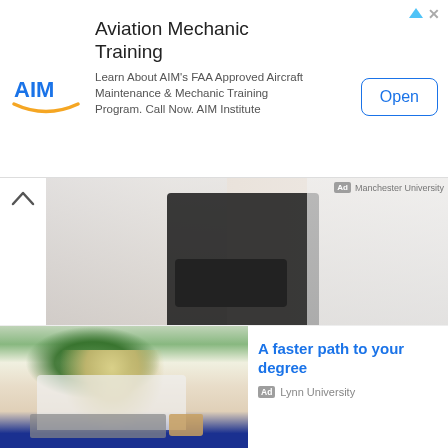[Figure (infographic): AIM Institute banner advertisement for Aviation Mechanic Training with logo, description text, and Open button]
Aviation Mechanic Training
Learn About AIM's FAA Approved Aircraft Maintenance & Mechanic Training Program. Call Now. AIM Institute
[Figure (photo): Partial photo of a doctor or medical professional in white coat with patient, partially cropped]
[Figure (engineering-diagram): CAD/BIM structural engineering wireframe diagram with colored overlaid lines (green, blue, purple) on a light blue background]
Wisconsin's Changing Climate
Ad  AIA
[Figure (photo): Photo of a blonde woman working on a laptop at a table with plants and coffee, blue couch in background]
A faster path to your degree
Ad  Lynn University